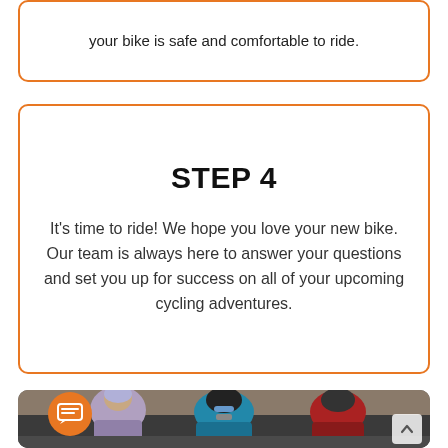adjustments such as correcting the seat height — so your bike is safe and comfortable to ride.
STEP 4
It's time to ride! We hope you love your new bike. Our team is always here to answer your questions and set you up for success on all of your upcoming cycling adventures.
[Figure (photo): Three cyclists riding on a road, wearing helmets and cycling gear. Left cyclist in purple, center cyclist in teal and black, right cyclist in red. An orange chat icon with speech bubble is overlaid on the lower left.]